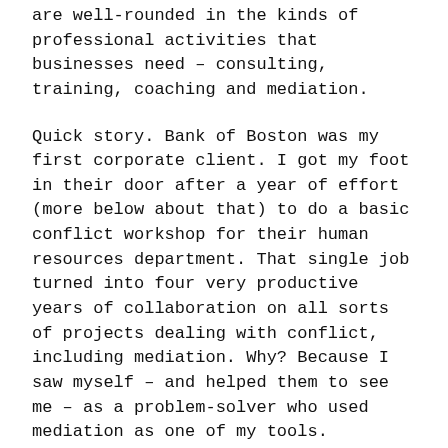are well-rounded in the kinds of professional activities that businesses need – consulting, training, coaching and mediation.
Quick story. Bank of Boston was my first corporate client. I got my foot in their door after a year of effort (more below about that) to do a basic conflict workshop for their human resources department. That single job turned into four very productive years of collaboration on all sorts of projects dealing with conflict, including mediation. Why? Because I saw myself – and helped them to see me – as a problem-solver who used mediation as one of my tools.
Be Prepared, be Overly Prepared
Attracting the attention of a prospective client is a little like dating. You have to make your interest